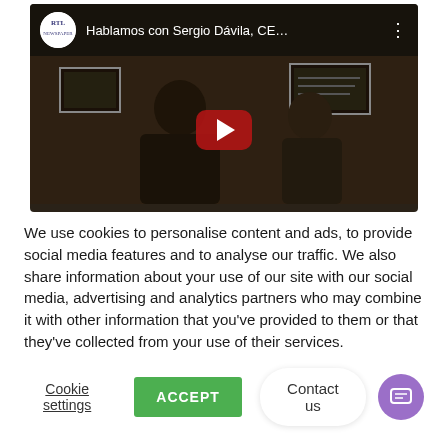[Figure (screenshot): YouTube video embed showing two people in a dark room. Title reads 'Hablamos con Sergio Dávila, CE…' with RTL channel logo and a red play button in the center.]
We use cookies to personalise content and ads, to provide social media features and to analyse our traffic. We also share information about your use of our site with our social media, advertising and analytics partners who may combine it with other information that you've provided to them or that they've collected from your use of their services.
Cookie settings
ACCEPT
Contact us